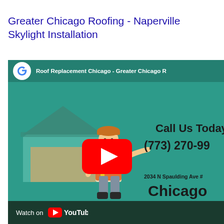Greater Chicago Roofing - Naperville Skylight Installation
[Figure (screenshot): YouTube video thumbnail screenshot for 'Roof Replacement Chicago - Greater Chicago Roofing' showing a cartoon construction worker in a hard hat and safety vest pointing at a house roof, with text 'Call Us Today (773) 270-99...' and '2034 N Spaulding Ave #... Chicago' on a teal background. A YouTube play button is centered. Bottom bar shows 'Watch on YouTube' on dark green background.]